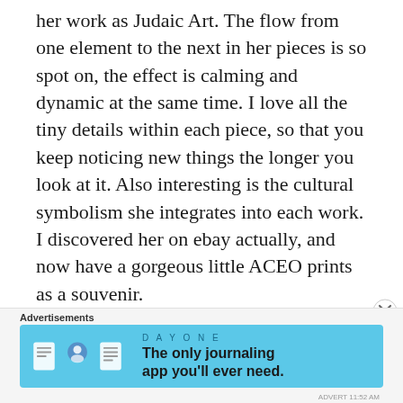her work as Judaic Art. The flow from one element to the next in her pieces is so spot on, the effect is calming and dynamic at the same time. I love all the tiny details within each piece, so that you keep noticing new things the longer you look at it. Also interesting is the cultural symbolism she integrates into each work. I discovered her on ebay actually, and now have a gorgeous little ACEO prints as a souvenir.
Advertisements
[Figure (other): Advertisement banner for DAY ONE journaling app with blue background, app icons, and tagline 'The only journaling app you'll ever need.']